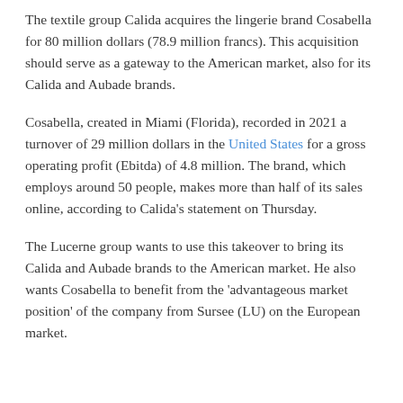The textile group Calida acquires the lingerie brand Cosabella for 80 million dollars (78.9 million francs). This acquisition should serve as a gateway to the American market, also for its Calida and Aubade brands.
Cosabella, created in Miami (Florida), recorded in 2021 a turnover of 29 million dollars in the United States for a gross operating profit (Ebitda) of 4.8 million. The brand, which employs around 50 people, makes more than half of its sales online, according to Calida's statement on Thursday.
The Lucerne group wants to use this takeover to bring its Calida and Aubade brands to the American market. He also wants Cosabella to benefit from the 'advantageous market position' of the company from Sursee (LU) on the European market.